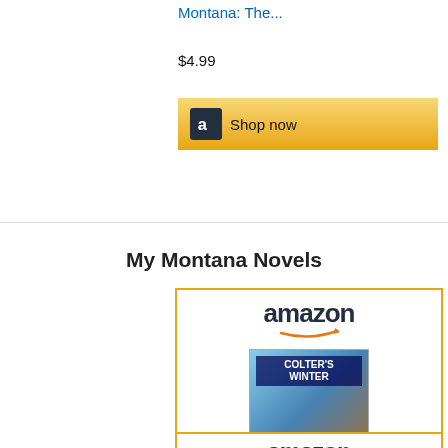Montana: The...
$4.99
[Figure (screenshot): Amazon Shop now button with dark Amazon 'a' logo icon on gold/yellow gradient background]
My Montana Novels
[Figure (screenshot): Amazon product listing card with Amazon logo, book cover for Colter's Winter (The Mountain...), price $3.99, Shop now button, and second partial Amazon card below]
Colter's Winter (The Mountain...
$3.99